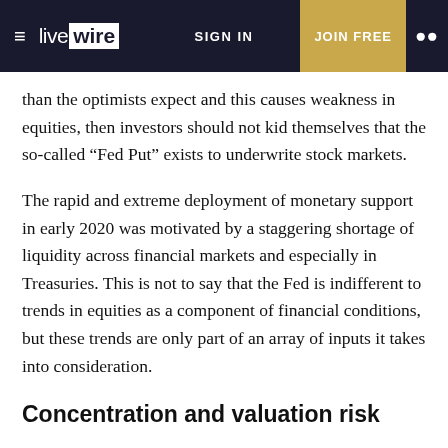live wire | SIGN IN | JOIN FREE
than the optimists expect and this causes weakness in equities, then investors should not kid themselves that the so-called “Fed Put” exists to underwrite stock markets.
The rapid and extreme deployment of monetary support in early 2020 was motivated by a staggering shortage of liquidity across financial markets and especially in Treasuries. This is not to say that the Fed is indifferent to trends in equities as a component of financial conditions, but these trends are only part of an array of inputs it takes into consideration.
Concentration and valuation risk
As we have said repeatedly over the last year, the